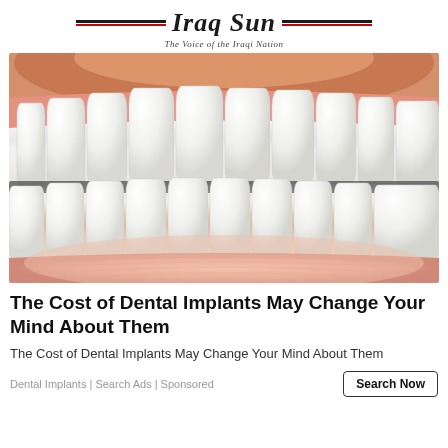Iraq Sun — The Voice of the Iraqi Nation
[Figure (photo): Close-up photo of a person smiling showing bright white teeth and lower lip]
The Cost of Dental Implants May Change Your Mind About Them
The Cost of Dental Implants May Change Your Mind About Them
Dental Implants | Search Ads | Sponsored
Search Now